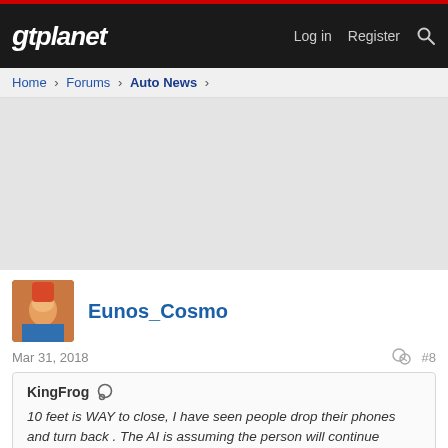gtplanet — Log in   Register   Search
Home › Forums › Auto News ›
[Figure (other): Gray advertisement placeholder area]
Eunos_Cosmo
Mar 31, 2018   #8
KingFrog — 10 feet is WAY to close, I have seen people drop their phones and turn back . The AI is assuming the person will continue moving forward , what if they turn back? The truth is, an AI can only react to meta data previously acquired in a specific set of